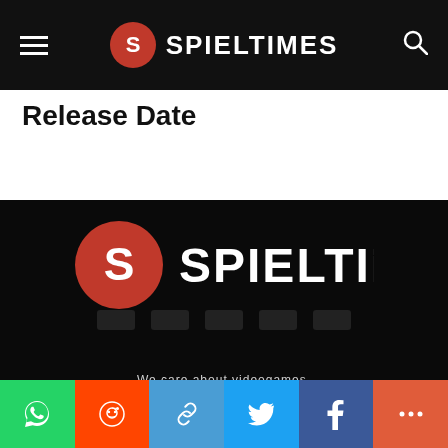SPIELTIMES
Release Date
[Figure (logo): Spieltimes logo — red circle with S icon and white SPIELTIMES wordmark on black background]
We care about videogames.
Contact us: support@spieltimes.com
Social share bar: WhatsApp, Reddit, Link, Twitter, Facebook, More